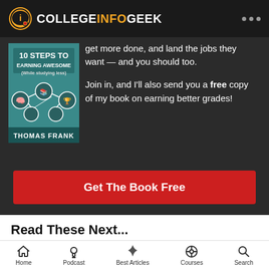COLLEGE INFO GEEK
get more done, and land the jobs they want — and you should too.

Join in, and I'll also send you a free copy of my book on earning better grades!
[Figure (photo): Book cover for '10 Steps to Earning Awesome Grades (While Studying Less)' by Thomas Frank, teal background with icon illustrations]
Get The Book Free
Read These Next...
[Figure (photo): Photo of a person writing or studying at a desk, dark background]
Home | Podcast | Best Articles | Courses | Search